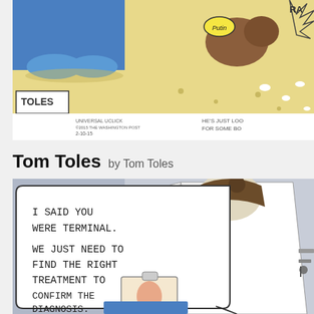[Figure (illustration): Top portion of a Tom Toles political cartoon showing a figure in blue shoes, a dog labeled 'Putin', and text reading 'UNIVERSAL UCLICK / ©2015 THE WASHINGTON POST / 2-10-15' and 'HE'S JUST LOO FOR SOME BO'.]
Tom Toles by Tom Toles
[Figure (illustration): Bottom portion of a Tom Toles political cartoon showing a doctor in white coat speaking to a patient. Speech bubble reads: 'I SAID YOU WERE TERMINAL. WE JUST NEED TO FIND THE RIGHT TREATMENT TO CONFIRM THE DIAGNOSIS.' The doctor holds a clipboard and a patient in blue is partially visible at the bottom.]